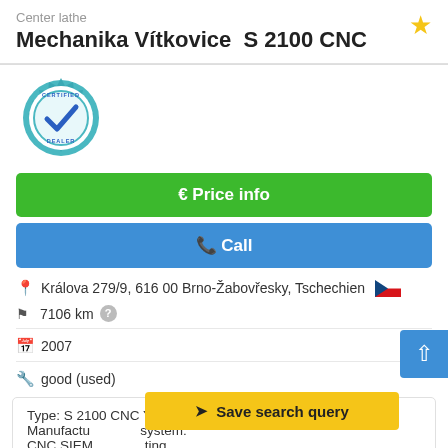Center lathe
Mechanika Vítkovice  S 2100 CNC
[Figure (illustration): Certified Dealer badge/seal icon in teal/blue with gear border and checkmark]
€ Price info
✆ Call
Králova 279/9, 616 00 Brno-Žabovřesky, Tschechien 🇨🇿
7106 km ?
2007
good (used)
Type: S 2100 CNC Year of production: 2007 Manufacturer: … system: CNC SIEM… …ting
Save search query